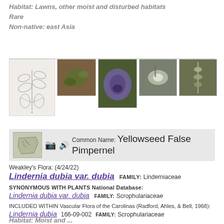Habitat: Lawns, other moist and disturbed habitats
Rare
Non-native: east Asia
[Figure (illustration): Botanical sketch and four photographs of Lindernia dubia var. dubia (Yellowseed False Pimpernel) showing plant structure and purple/white flowers]
Common Name: Yellowseed False Pimpernel
Weakley's Flora: (4/24/22)
Lindernia dubia var. dubia   FAMILY: Linderniaceae
SYNONYMOUS WITH PLANTS National Database:
Lindernia dubia var. dubia   FAMILY: Scrophulariaceae
INCLUDED WITHIN Vascular Flora of the Carolinas (Radford, Ahles, & Bell, 1968):
Lindernia dubia 166-09-002   FAMILY: Scrophulariaceae